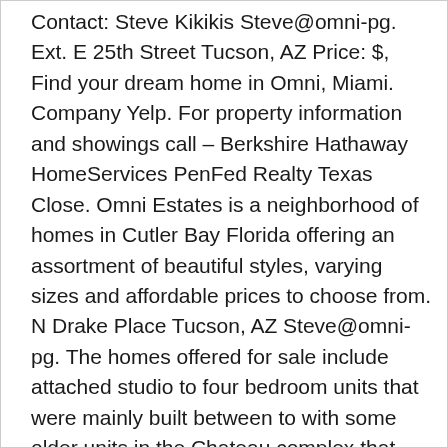Contact: Steve Kikikis Steve@omni-pg. Ext. E 25th Street Tucson, AZ Price: $, Find your dream home in Omni, Miami. Company Yelp. For property information and showings call – Berkshire Hathaway HomeServices PenFed Realty Texas Close. Omni Estates is a neighborhood of homes in Cutler Bay Florida offering an assortment of beautiful styles, varying sizes and affordable prices to choose from. N Drake Place Tucson, AZ Steve@omni-pg. The homes offered for sale include attached studio to four bedroom units that were mainly built between to with some older units in the Chateau complex that were built in and located within the gates of the Omni Resort. House / Condo